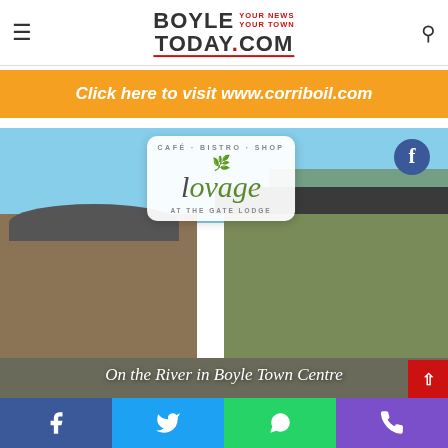BoyleToday.com — YOUR NEWS YOUR TOWN
[Figure (illustration): Orange banner advertisement: Click here to visit www.corriboil.com]
[Figure (photo): Lovage Café Bistro Shop at The Gate Lodge — photo of stone building and green building in Boyle Town Centre, with Lovage logo overlay and Facebook icon. Caption: On the River in Boyle Town Centre]
[Figure (infographic): Social sharing bar with Facebook, Twitter, WhatsApp, and phone icons]